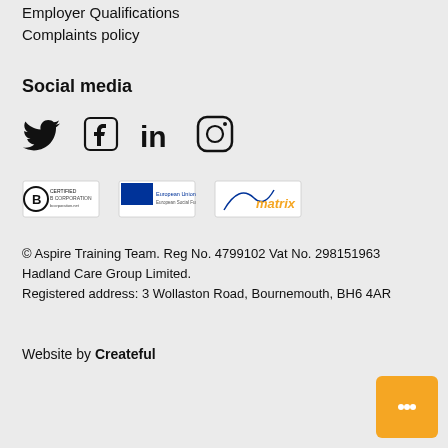Employer Qualifications
Complaints policy
Social media
[Figure (illustration): Social media icons: Twitter bird, Facebook logo, LinkedIn logo, Instagram logo]
[Figure (logo): Three certification/partner logos: B Corp certified, European Union flag logo, Matrix standard logo]
© Aspire Training Team. Reg No. 4799102 Vat No. 298151963 Hadland Care Group Limited. Registered address: 3 Wollaston Road, Bournemouth, BH6 4AR
Website by Createful